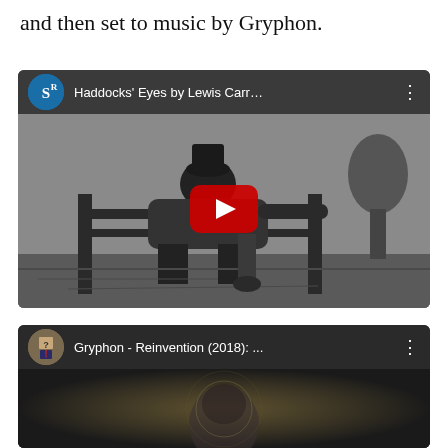and then set to music by Gryphon.
[Figure (screenshot): YouTube video embed showing 'Haddocks' Eyes by Lewis Carr…' with a black and white illustration of two figures at a fence, with a red YouTube play button. Channel icon shows stylized 'SR' letters on blue circle.]
[Figure (screenshot): YouTube video embed showing 'Gryphon - Reinvention (2018): ...' with a dark thumbnail. Channel icon shows a figure with a box/bag over their head wearing a suit. 'Uploaded in HD @ TunesToTube.com' watermark visible.]